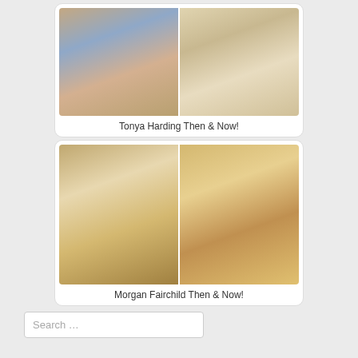[Figure (photo): Two side-by-side photos of Tonya Harding, one from earlier years and one more recent]
Tonya Harding Then & Now!
[Figure (photo): Two side-by-side photos of Morgan Fairchild, one from earlier years and one more recent]
Morgan Fairchild Then & Now!
Search …